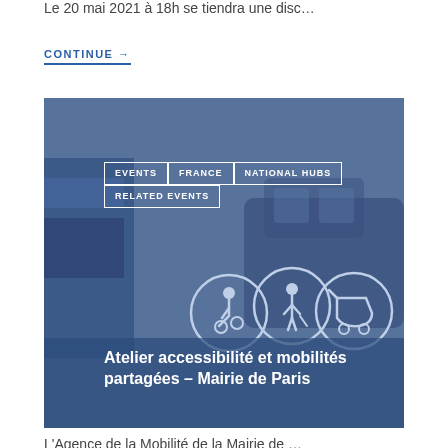Le 20 mai 2021 à 18h se tiendra une disc…
CONTINUE →
[Figure (photo): Photo of a bus and car with accessibility icons (wheelchair user, person with cane, baby carriage) overlaid with a blue tint. Tags: EVENTS, FRANCE, NATIONAL HUBS, RELATED EVENTS. Title: Atelier accessibilité et mobilités partagées – Mairie de Paris]
L'Agence de la Mobilité de la Mairie de …